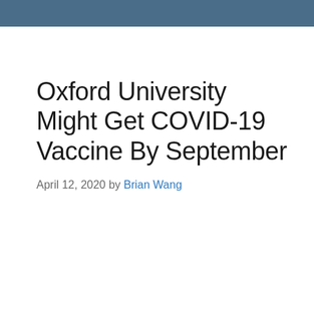Oxford University Might Get COVID-19 Vaccine By September
April 12, 2020 by Brian Wang